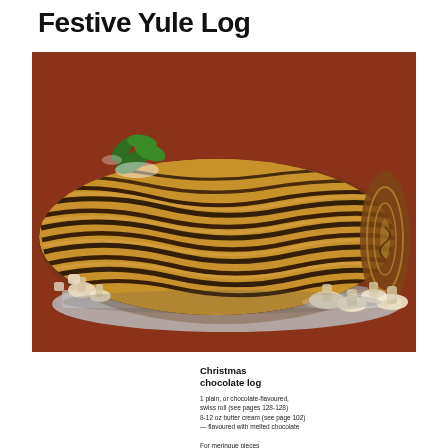Festive Yule Log
[Figure (photo): A festive Christmas Yule Log cake (Bûche de Noël) decorated with chocolate bark-patterned buttercream, meringue mushrooms, and green holly leaves, displayed on a silver board against a deep red/brown background.]
Christmas chocolate log
1 plain, or chocolate-flavoured, swiss roll (see pages 128-128)
8-12 oz butter cream (see page 102)
— flavoured with melted chocolate

For meringue pieces
1 egg white